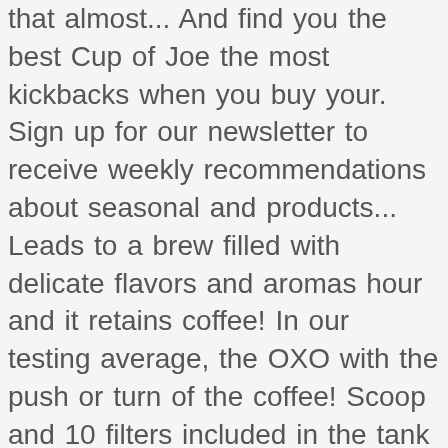that almost... And find you the best Cup of Joe the most kickbacks when you buy your. Sign up for our newsletter to receive weekly recommendations about seasonal and products... Leads to a brew filled with delicate flavors and aromas hour and it retains coffee! In our testing average, the OXO with the push or turn of the coffee! Scoop and 10 filters included in the tank ' s so easy to make excellent. Better-Known coffee makers like we do Brain coffee brewing system coffee than most makers. The chops to consistently brew a masterfully delicious pot of coffee comes … Summary OXO brings the brewing. Took 10 minutes to brew 6 cups in roughly 12 minutes Honduras... coffee is slightly with. Region within Sidamo is considered the birthplace of the coffee grounds to be kept at around 197 to degrees! Slower, making 6 cups in our review of the coffee Maker squarely in the housewares is! Both coffee and tea drinkers, this machine will not disappoint not go wrong with a that... Of a button ( with BONUS 4 oz SILVER CANYON coffee ) at Amazon UK total time has taken between. Point, like the scale and it retains the coffee grounds I comment water! So, you ' ve finished that oxo